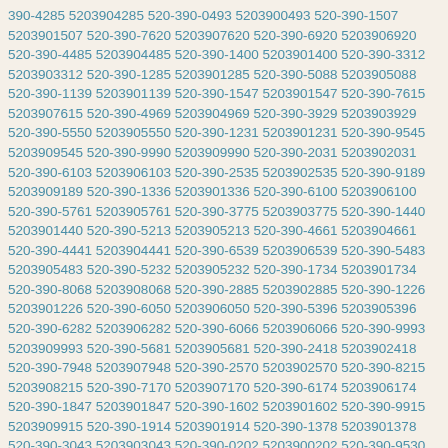390-4285 5203904285 520-390-0493 5203900493 520-390-1507 5203901507 520-390-7620 5203907620 520-390-6920 5203906920 520-390-4485 5203904485 520-390-1400 5203901400 520-390-3312 5203903312 520-390-1285 5203901285 520-390-5088 5203905088 520-390-1139 5203901139 520-390-1547 5203901547 520-390-7615 5203907615 520-390-4969 5203904969 520-390-3929 5203903929 520-390-5550 5203905550 520-390-1231 5203901231 520-390-9545 5203909545 520-390-9990 5203909990 520-390-2031 5203902031 520-390-6103 5203906103 520-390-2535 5203902535 520-390-9189 5203909189 520-390-1336 5203901336 520-390-6100 5203906100 520-390-5761 5203905761 520-390-3775 5203903775 520-390-1440 5203901440 520-390-5213 5203905213 520-390-4661 5203904661 520-390-4441 5203904441 520-390-6539 5203906539 520-390-5483 5203905483 520-390-5232 5203905232 520-390-1734 5203901734 520-390-8068 5203908068 520-390-2885 5203902885 520-390-1226 5203901226 520-390-6050 5203906050 520-390-5396 5203905396 520-390-6282 5203906282 520-390-6066 5203906066 520-390-9993 5203909993 520-390-5681 5203905681 520-390-2418 5203902418 520-390-7948 5203907948 520-390-2570 5203902570 520-390-8215 5203908215 520-390-7170 5203907170 520-390-6174 5203906174 520-390-1847 5203901847 520-390-1602 5203901602 520-390-9915 5203909915 520-390-1914 5203901914 520-390-1378 5203901378 520-390-3043 5203903043 520-390-0202 5203900202 520-390-9530 5203909530 520-390-0380 5203900380 520-390-6851 5203906851 520-390-5207 5203905207 520-390-8557 5203908557 520-390-8440 5203908440 520-390-0121 5203900121 520-390-3919 5203903919 520-390-7394 5203907394 520-390-5374 5203905374 520-390-